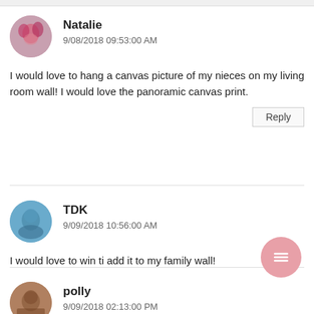[Figure (photo): Circular avatar photo of user Natalie, pinkish-red floral tones]
Natalie
9/08/2018 09:53:00 AM
I would love to hang a canvas picture of my nieces on my living room wall! I would love the panoramic canvas print.
Reply
[Figure (photo): Circular avatar photo of user TDK, blue tones]
TDK
9/09/2018 10:56:00 AM
I would love to win ti add it to my family wall!
[Figure (photo): Circular avatar photo of user polly, brown tones]
polly
9/09/2018 02:13:00 PM